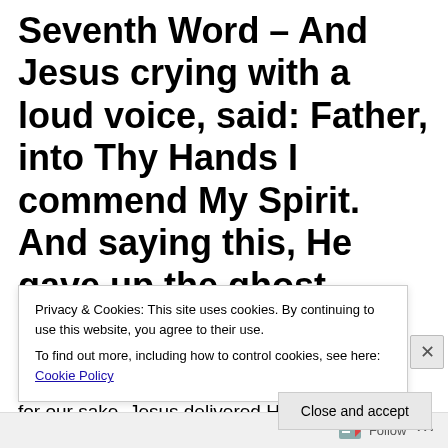Seventh Word – And Jesus crying with a loud voice, said: Father, into Thy Hands I commend My Spirit. And saying this, He gave up the ghost. (Luke 23:46)
As He neared the end of His Passion, suffered for our sake, Jesus delivered His final words declaring that death had not power over Him. The Master and Creator of this
Privacy & Cookies: This site uses cookies. By continuing to use this website, you agree to their use.
To find out more, including how to control cookies, see here: Cookie Policy
Close and accept
Follow